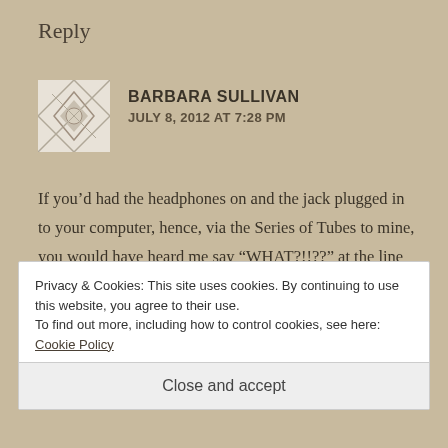Reply
BARBARA SULLIVAN
JULY 8, 2012 AT 7:28 PM
If you’d had the headphones on and the jack plugged in to your computer, hence, via the Series of Tubes to mine, you would have heard me say “WHAT?!!??” at the line about no need for Auntie Kate anymore as I realized he wouldn’t be breaking any more eggs on your coffee table. And then, of
Privacy & Cookies: This site uses cookies. By continuing to use this website, you agree to their use.
To find out more, including how to control cookies, see here: Cookie Policy
Close and accept